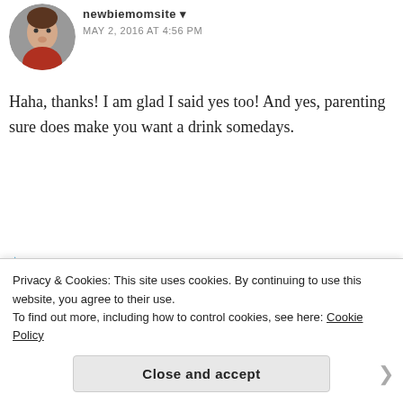[Figure (photo): Circular avatar photo of a woman]
newbiemomsite
MAY 2, 2016 AT 4:56 PM
Haha, thanks! I am glad I said yes too! And yes, parenting sure does make you want a drink somedays.
★ Liked by 1 person
Reply
[Figure (screenshot): WordPress app advertisement banner with blue background and phone screenshots showing 'Get the app' button]
Privacy & Cookies: This site uses cookies. By continuing to use this website, you agree to their use.
To find out more, including how to control cookies, see here: Cookie Policy
Close and accept